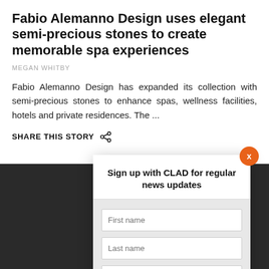Fabio Alemanno Design uses elegant semi-precious stones to create memorable spa experiences
MEGAN WHITBY
Fabio Alemanno Design has expanded its collection with semi-precious stones to enhance spas, wellness facilities, hotels and private residences. The ...
SHARE THIS STORY
Sign up with CLAD for regular news updates
First name
Last name
Email
SIGN UP